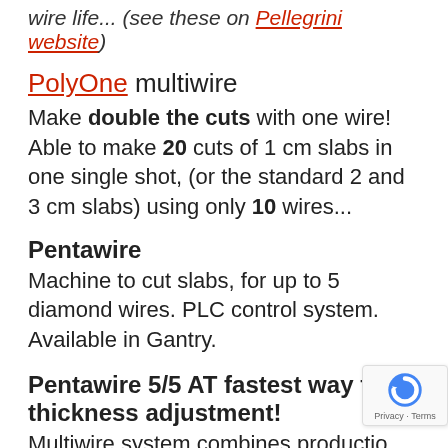wire life... (see these on Pellegrini website)
PolyOne multiwire
Make double the cuts with one wire! Able to make 20 cuts of 1 cm slabs in one single shot, (or the standard 2 and 3 cm slabs) using only 10 wires...
Pentawire
Machine to cut slabs, for up to 5 diamond wires. PLC control system. Available in Gantry.
Pentawire 5/5 AT
fastest way for thickness adjustment! Multiwire system combines production and flexibility; runs up to 5 diamond w... and changes thicknesses and mixed